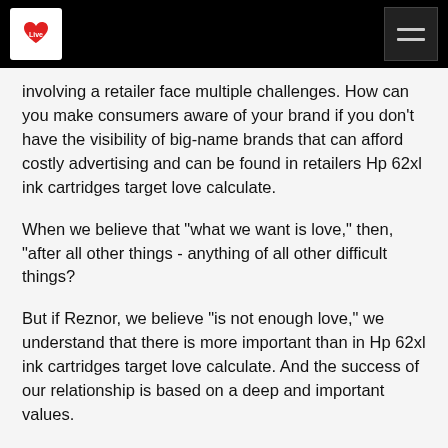Love (logo) | navigation menu
involving a retailer face multiple challenges. How can you make consumers aware of your brand if you don't have the visibility of big-name brands that can afford costly advertising and can be found in retailers Hp 62xl ink cartridges target love calculate.
When we believe that "what we want is love," then, "after all other things - anything of all other difficult things?
But if Reznor, we believe "is not enough love," we understand that there is more important than in Hp 62xl ink cartridges target love calculate. And the success of our relationship is based on a deep and important values.